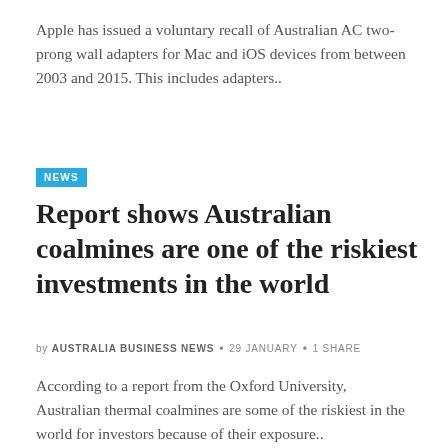Apple has issued a voluntary recall of Australian AC two-prong wall adapters for Mac and iOS devices from between 2003 and 2015. This includes adapters..
NEWS
Report shows Australian coalmines are one of the riskiest investments in the world
by AUSTRALIA BUSINESS NEWS • 29 JANUARY • 1 SHARE
According to a report from the Oxford University, Australian thermal coalmines are some of the riskiest in the world for investors because of their exposure..